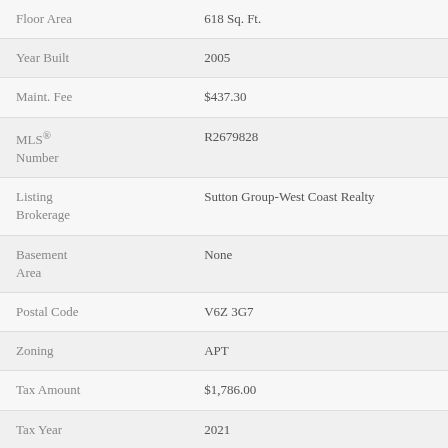| Field | Value |
| --- | --- |
| Floor Area | 618 Sq. Ft. |
| Year Built | 2005 |
| Maint. Fee | $437.30 |
| MLS® Number | R2679828 |
| Listing Brokerage | Sutton Group-West Coast Realty |
| Basement Area | None |
| Postal Code | V6Z 3G7 |
| Zoning | APT |
| Tax Amount | $1,786.00 |
| Tax Year | 2021 |